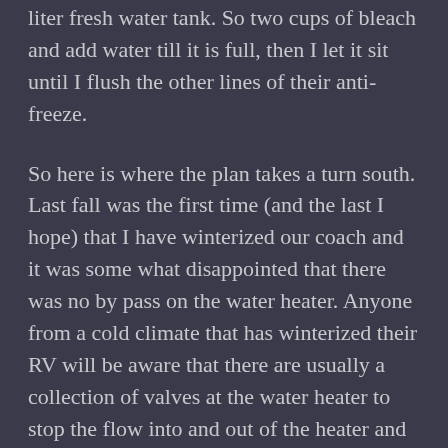liter fresh water tank. So two cups of bleach and add water till it is full, then I let it sit until I flush the other lines of their anti-freeze.
So here is where the plan takes a turn south. Last fall was the first time (and the last I hope) that I have winterized our coach and it was some what disappointed that there was no by pass on the water heater. Anyone from a cold climate that has winterized their RV will be aware that there are usually a collection of valves at the water heater to stop the flow into and out of the heater and allow the water to bypass the heater. This means that there is no need to fill the the heater with antifreeze which would take a lot of flushing to clear in the spring as well as the cost of the